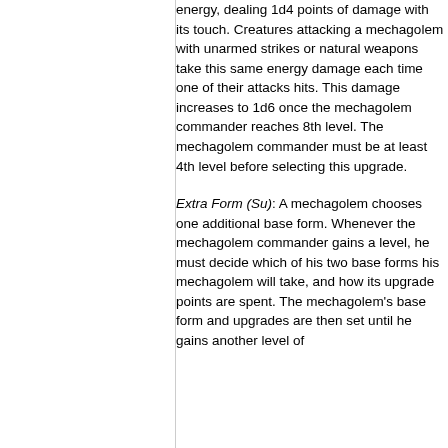energy, dealing 1d4 points of damage with its touch. Creatures attacking a mechagolem with unarmed strikes or natural weapons take this same energy damage each time one of their attacks hits. This damage increases to 1d6 once the mechagolem commander reaches 8th level. The mechagolem commander must be at least 4th level before selecting this upgrade.
Extra Form (Su): A mechagolem chooses one additional base form. Whenever the mechagolem commander gains a level, he must decide which of his two base forms his mechagolem will take, and how its upgrade points are spent. The mechagolem's base form and upgrades are then set until he gains another level of